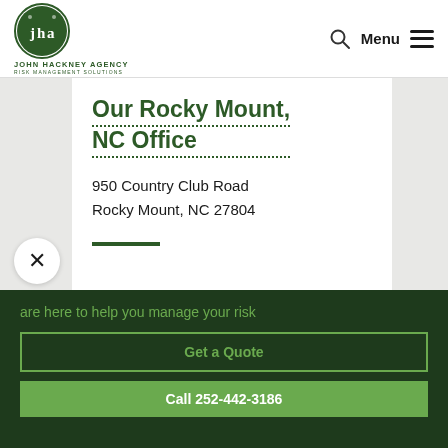[Figure (logo): John Hackney Agency circular logo with 'jha' lettering in green, with text 'JOHN HACKNEY AGENCY' and 'RISK MANAGEMENT SOLUTIONS' below]
Menu
Our Rocky Mount, NC Office
950 Country Club Road
Rocky Mount, NC 27804
are here to help you manage your risk
Get a Quote
Call 252-442-3186